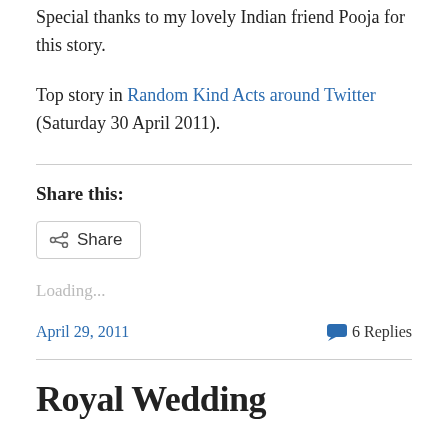Special thanks to my lovely Indian friend Pooja for this story.
Top story in Random Kind Acts around Twitter (Saturday 30 April 2011).
Share this:
Loading...
April 29, 2011    6 Replies
Royal Wedding